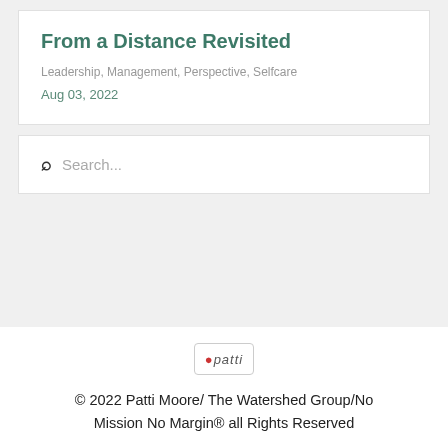From a Distance Revisited
Leadership, Management, Perspective, Selfcare
Aug 03, 2022
Search...
[Figure (logo): Small logo box with the word 'patti' in colorful letters]
© 2022 Patti Moore/ The Watershed Group/No Mission No Margin® all Rights Reserved